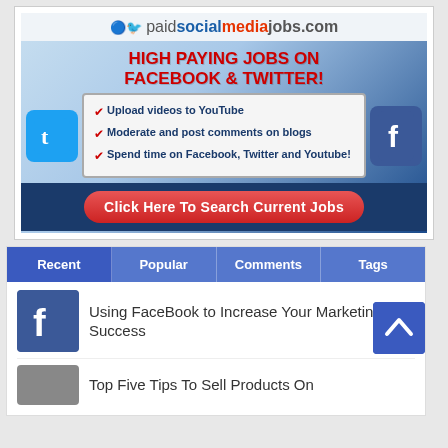[Figure (infographic): Advertisement for paidsocialmediajobs.com showing 'HIGH PAYING JOBS ON FACEBOOK & TWITTER!' with checklist items: Upload videos to YouTube, Moderate and post comments on blogs, Spend time on Facebook, Twitter and Youtube! With a red 'Click Here To Search Current Jobs' button.]
Recent | Popular | Comments | Tags
Using FaceBook to Increase Your Marketing Success
Top Five Tips To Sell Products On